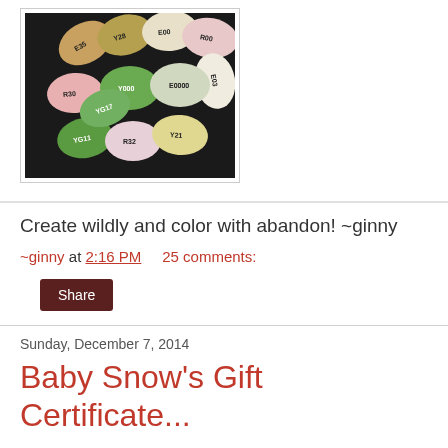[Figure (photo): Photo of colorful Copic markers arranged in a circular pattern on a dark background, showing various marker caps with labels like E35, Y28, E00, R00, E03, R30, R32, YG17, YG11, Y21, and others]
Create wildly and color with abandon!  ~ginny
~ginny at 2:16 PM    25 comments:
Share
Sunday, December 7, 2014
Baby Snow's Gift Certificate...
This is a double sided card...